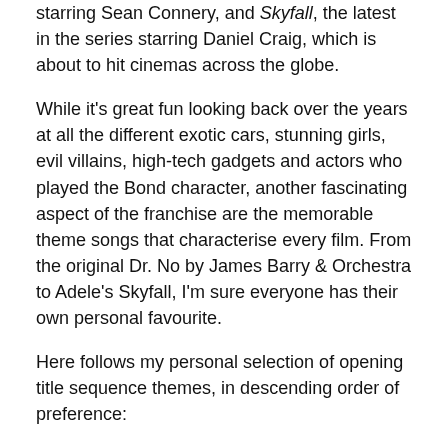starring Sean Connery, and Skyfall, the latest in the series starring Daniel Craig, which is about to hit cinemas across the globe.
While it's great fun looking back over the years at all the different exotic cars, stunning girls, evil villains, high-tech gadgets and actors who played the Bond character, another fascinating aspect of the franchise are the memorable theme songs that characterise every film. From the original Dr. No by James Barry & Orchestra to Adele's Skyfall, I'm sure everyone has their own personal favourite.
Here follows my personal selection of opening title sequence themes, in descending order of preference:
1. Goldfinger by Shirley Bassey, from Goldfinger, 1964